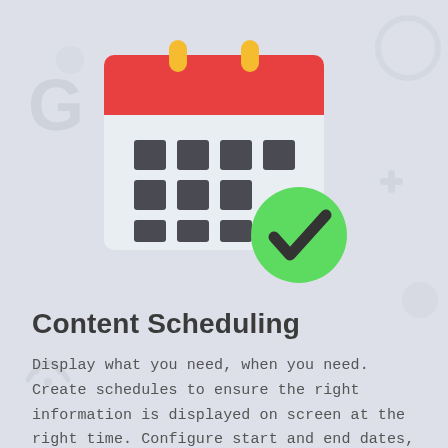[Figure (illustration): A flat-design illustration of a calendar with a red header bar, two yellow binding rings at the top, a grid of dark square date boxes on a light blue-grey background, and a green circle with a dark checkmark overlapping the bottom-right of the calendar. Behind the calendar are faint grey decorative icons (a letter G, WiFi symbol, plus sign, and circular shapes) on a grey-blue background.]
Content Scheduling
Display what you need, when you need. Create schedules to ensure the right information is displayed on screen at the right time. Configure start and end dates, time windows and days of the week for total control of